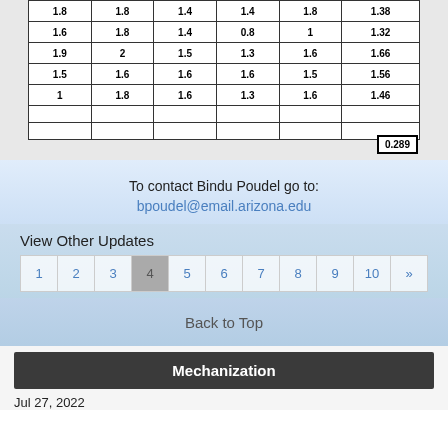| 1.8 | 1.8 | 1.4 | 1.4 | 1.8 | 1.38 |
| 1.6 | 1.8 | 1.4 | 0.8 | 1 | 1.32 |
| 1.9 | 2 | 1.5 | 1.3 | 1.6 | 1.66 |
| 1.5 | 1.6 | 1.6 | 1.6 | 1.5 | 1.56 |
| 1 | 1.8 | 1.6 | 1.3 | 1.6 | 1.46 |
|  |  |  |  |  |  |
|  |  |  |  |  |  |
|  |  |  |  |  | 0.289 |
To contact Bindu Poudel go to:
bpoudel@email.arizona.edu
View Other Updates
1 2 3 4 5 6 7 8 9 10 »
Back to Top
Mechanization
Jul 27, 2022